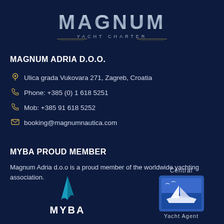[Figure (logo): Magnum Yacht Charter logo with silver metallic text and golden decorative lines]
MAGNUM ADRIA D.O.O.
Ulica grada Vukovara 271, Zagreb, Croatia
Phone: +385 (0) 1 618 5251
Mob: +385 91 618 5252
booking@magnumnautica.com
MYBA PROUD MEMBER
Magnum Adria d.o.o is a proud member of the worldwide yachting association.
[Figure (logo): MYBA logo with blue sail icon and white MYBA text]
[Figure (logo): Central Yacht Agent logo with blue box containing yacht illustration]